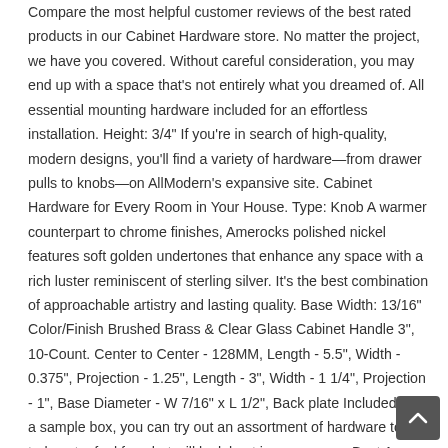Compare the most helpful customer reviews of the best rated products in our Cabinet Hardware store. No matter the project, we have you covered. Without careful consideration, you may end up with a space that's not entirely what you dreamed of. All essential mounting hardware included for an effortless installation. Height: 3/4" If you're in search of high-quality, modern designs, you'll find a variety of hardware—from drawer pulls to knobs—on AllModern's expansive site. Cabinet Hardware for Every Room in Your House. Type: Knob A warmer counterpart to chrome finishes, Amerocks polished nickel features soft golden undertones that enhance any space with a rich luster reminiscent of sterling silver. It's the best combination of approachable artistry and lasting quality. Base Width: 13/16" Color/Finish Brushed Brass & Clear Glass Cabinet Handle 3", 10-Count. Center to Center - 128MM, Length - 5.5", Width - 0.375", Projection - 1.25", Length - 3", Width - 1 1/4", Projection - 1", Base Diameter - W 7/16" x L 1/2", Back plate Included With a sample box, you can try out an assortment of hardware to truly get a feel for what will look best in your space. Best Access Systems. You can see all of the design inspiration, plans, products, and sources right here. Length: N/A Influenced by